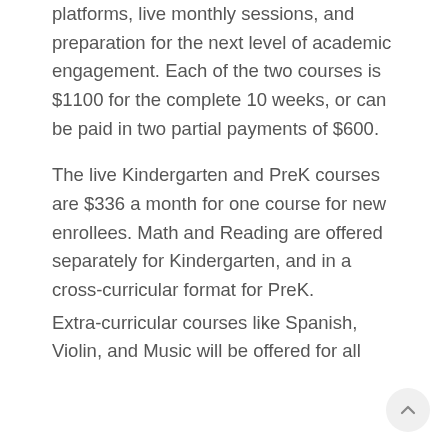platforms, live monthly sessions, and preparation for the next level of academic engagement. Each of the two courses is $1100 for the complete 10 weeks, or can be paid in two partial payments of $600.
The live Kindergarten and PreK courses are $336 a month for one course for new enrollees. Math and Reading are offered separately for Kindergarten, and in a cross-curricular format for PreK.
Extra-curricular courses like Spanish, Violin, and Music will be offered for all